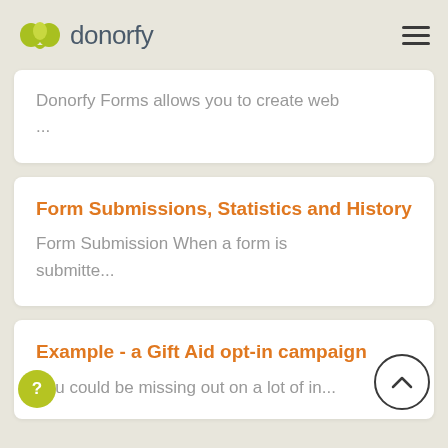donorfy
Donorfy Forms allows you to create web ...
Form Submissions, Statistics and History
Form Submission When a form is submitte...
Example - a Gift Aid opt-in campaign
You could be missing out on a lot of in...